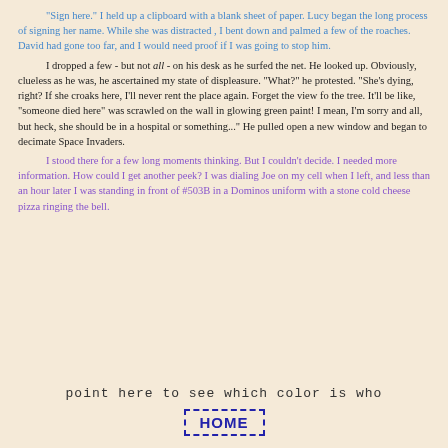"Sign here." I held up a clipboard with a blank sheet of paper. Lucy began the long process of signing her name. While she was distracted , I bent down and palmed a few of the roaches. David had gone too far, and I would need proof if I was going to stop him.
I dropped a few - but not all - on his desk as he surfed the net. He looked up. Obviously, clueless as he was, he ascertained my state of displeasure. "What?" he protested. "She's dying, right? If she croaks here, I'll never rent the place again. Forget the view fo the tree. It'll be like, "someone died here" was scrawled on the wall in glowing green paint! I mean, I'm sorry and all, but heck, she should be in a hospital or something..." He pulled open a new window and began to decimate Space Invaders.
I stood there for a few long moments thinking. But I couldn't decide. I needed more information. How could I get another peek? I was dialing Joe on my cell when I left, and less than an hour later I was standing in front of #503B in a Dominos uniform with a stone cold cheese pizza ringing the bell.
point here to see which color is who
HOME